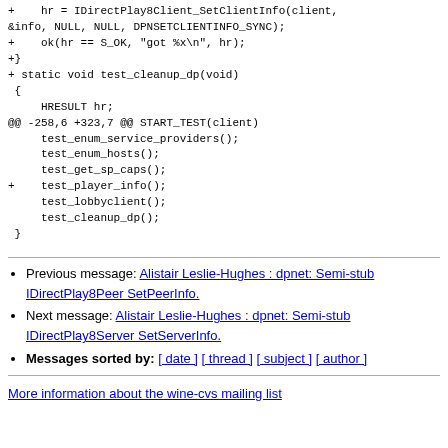+ hr = IDirectPlay8Client_SetClientInfo(client, &info, NULL, NULL, DPNSETCLIENTINFO_SYNC);
+    ok(hr == S_OK, "got %x\n", hr);
+}
+
 static void test_cleanup_dp(void)
 {
     HRESULT hr;
@@ -258,6 +323,7 @@ START_TEST(client)
     test_enum_service_providers();
     test_enum_hosts();
     test_get_sp_caps();
+    test_player_info();
     test_lobbyclient();
     test_cleanup_dp();
 }
Previous message: Alistair Leslie-Hughes : dpnet: Semi-stub IDirectPlay8Peer SetPeerInfo.
Next message: Alistair Leslie-Hughes : dpnet: Semi-stub IDirectPlay8Server SetServerInfo.
Messages sorted by: [ date ] [ thread ] [ subject ] [ author ]
More information about the wine-cvs mailing list